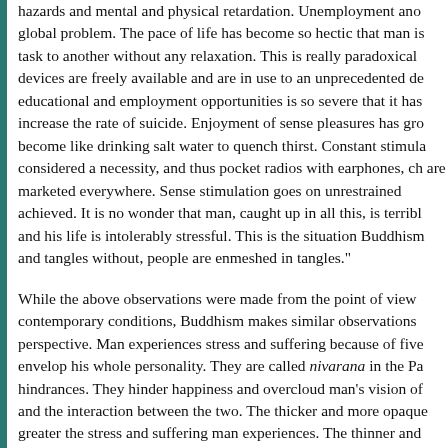hazards and mental and physical retardation. Unemployment and global problem. The pace of life has become so hectic that man is task to another without any relaxation. This is really paradoxical devices are freely available and are in use to an unprecedented de educational and employment opportunities is so severe that it has increase the rate of suicide. Enjoyment of sense pleasures has gr become like drinking salt water to quench thirst. Constant stimula considered a necessity, and thus pocket radios with earphones, ch are marketed everywhere. Sense stimulation goes on unrestrained achieved. It is no wonder that man, caught up in all this, is terribl and his life is intolerably stressful. This is the situation Buddhism and tangles without, people are enmeshed in tangles."
While the above observations were made from the point of view contemporary conditions, Buddhism makes similar observations perspective. Man experiences stress and suffering because of five envelop his whole personality. They are called nivarana in the Pa hindrances. They hinder happiness and overcloud man's vision of and the interaction between the two. The thicker and more opaque greater the stress and suffering man experiences. The thinner and hindrances, the less his suffering with a corresponding increase in hindrances are the desire for sensual pleasures, anger, indolence, Canon illustrates the effect of these hindrances with the help of fi mind overpowered by the desire for sense pleasures is compared prevents a true reflection of a thing on the water. Thus a man obs sense pleasures is unable to get a true perspective of either himse